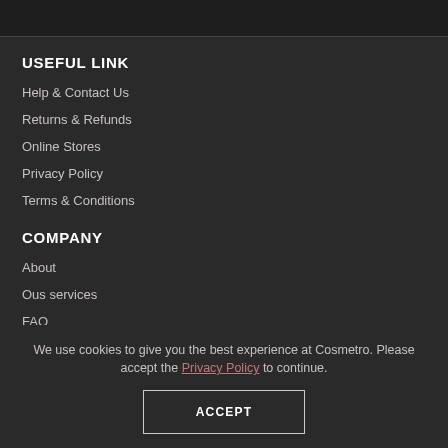USEFUL LINK
Help & Contact Us
Returns & Refunds
Online Stores
Privacy Policy
Terms & Conditions
COMPANY
About
Ous services
FAQ
Portfolio
We use cookies to give you the best experience at Cosmetro. Please accept the Privacy Policy to continue.
ACCEPT